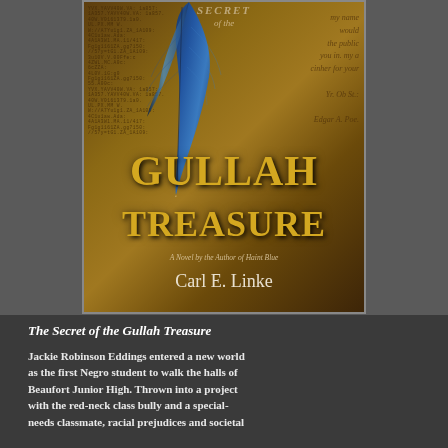[Figure (illustration): Book cover for 'The Secret of the Gullah Treasure' by Carl E. Linke. The cover shows a blue feather quill against a parchment background with handwritten cursive script and coded text. Large gold text reads 'GULLAH TREASURE', subtitle 'A Novel by the Author of Haint Blue', author name 'Carl E. Linke'.]
The Secret of the Gullah Treasure
Jackie Robinson Eddings entered a new world as the first Negro student to walk the halls of Beaufort Junior High. Thrown into a project with the red-neck class bully and a special-needs classmate, racial prejudices and societal